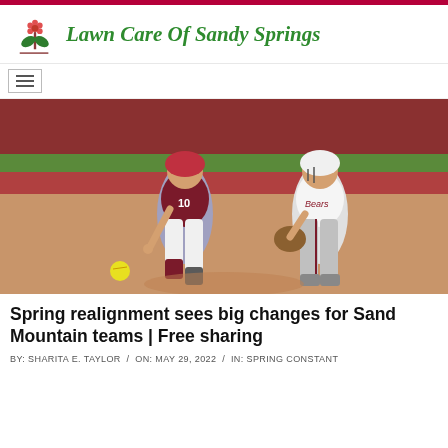Lawn Care Of Sandy Springs
[Figure (photo): Two female softball players on a dirt field. One player in a maroon uniform numbered 10 is lunging forward while the other player in a white uniform is nearby with a glove. A yellow softball is on the ground in the lower left.]
Spring realignment sees big changes for Sand Mountain teams | Free sharing
BY: SHARITA E. TAYLOR / ON: MAY 29, 2022 / IN: SPRING CONSTANT